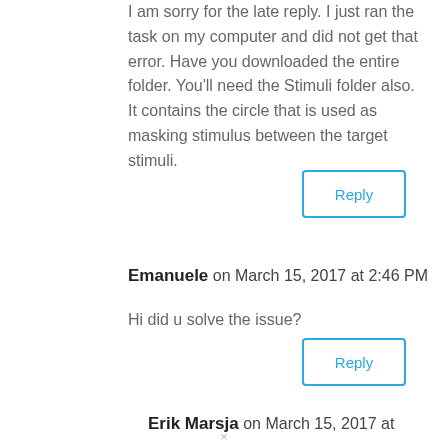I am sorry for the late reply. I just ran the task on my computer and did not get that error. Have you downloaded the entire folder. You'll need the Stimuli folder also. It contains the circle that is used as masking stimulus between the target stimuli.
Reply
Emanuele on March 15, 2017 at 2:46 PM
Hi did u solve the issue?
Reply
Erik Marsja on March 15, 2017 at